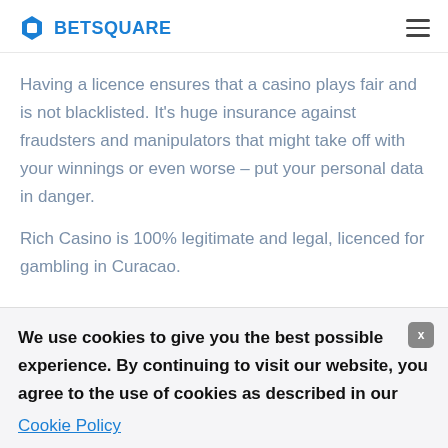BETSQUARE
Having a licence ensures that a casino plays fair and is not blacklisted. It's huge insurance against fraudsters and manipulators that might take off with your winnings or even worse – put your personal data in danger.
Rich Casino is 100% legitimate and legal, licenced for gambling in Curacao.
We use cookies to give you the best possible experience. By continuing to visit our website, you agree to the use of cookies as described in our Cookie Policy